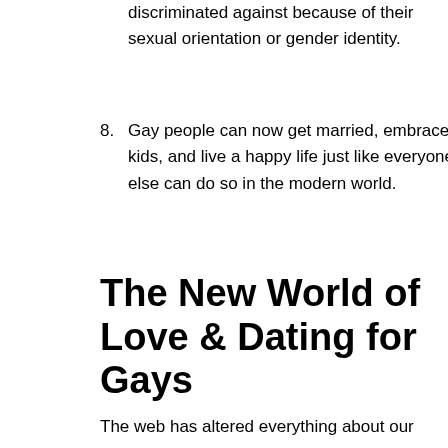discriminated against because of their sexual orientation or gender identity.
8. Gay people can now get married, embrace kids, and live a happy life just like everyone else can do so in the modern world.
The New World of Love & Dating for Gays
The web has altered everything about our